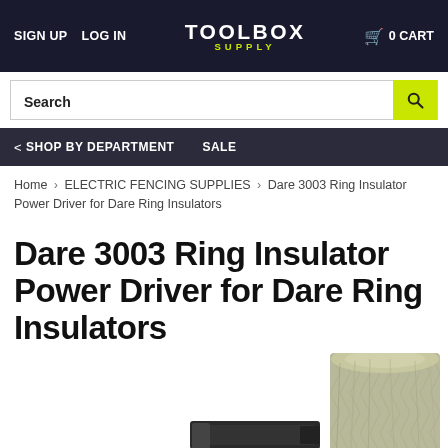SIGN UP  LOG IN  TOOLBOX SUPPLY  0 CART
Search
< SHOP BY DEPARTMENT   SALE
Home › ELECTRIC FENCING SUPPLIES › Dare 3003 Ring Insulator Power Driver for Dare Ring Insulators
Dare 3003 Ring Insulator Power Driver for Dare Ring Insulators
[Figure (photo): Product photo showing a ring insulator power driver tool and a wooden fence post]